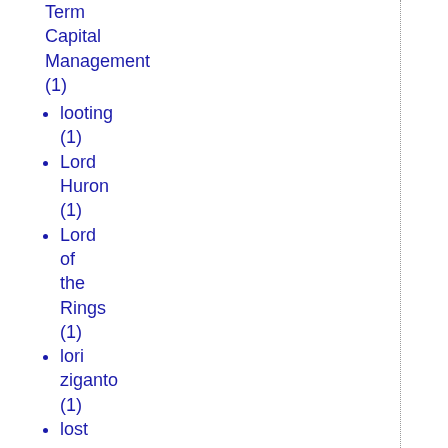Term Capital Management (1)
looting (1)
Lord Huron (1)
Lord of the Rings (1)
lori ziganto (1)
lost causes (1)
love (4)
loyal opposition (1)